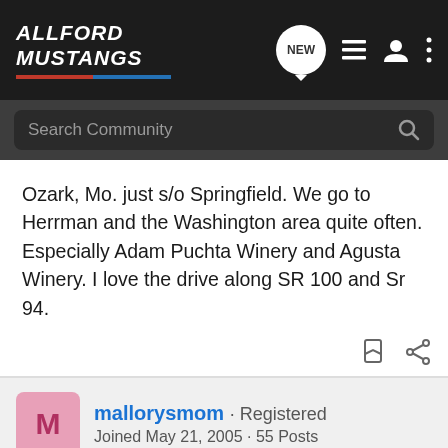ALLFORD MUSTANGS navigation bar with search
Ozark, Mo. just s/o Springfield. We go to Herrman and the Washington area quite often. Especially Adam Puchta Winery and Agusta Winery. I love the drive along SR 100 and Sr 94.
mallorysmom · Registered
Joined May 21, 2005 · 55 Posts
Discussion Starter · #7 · Oct 18, 2005
This is great! So far, we're all practically neighbors! We are really closer to New Melle than Defiance, but that's our mailing address. Those of you who are rural probably already